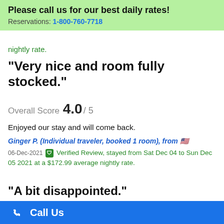Please call us for our best daily rates! Reservations: 1-800-760-7718
nightly rate.
"Very nice and room fully stocked."
Overall Score 4.0 / 5
Enjoyed our stay and will come back.
Ginger P. (Individual traveler, booked 1 room), from 🇺🇸
06-Dec-2021 ✓ Verified Review, stayed from Sat Dec 04 to Sun Dec 05 2021 at a $172.99 average nightly rate.
"A bit disappointed."
Overall Score 3.0 / 5
Already sent my review to the email you sent to
Call Us